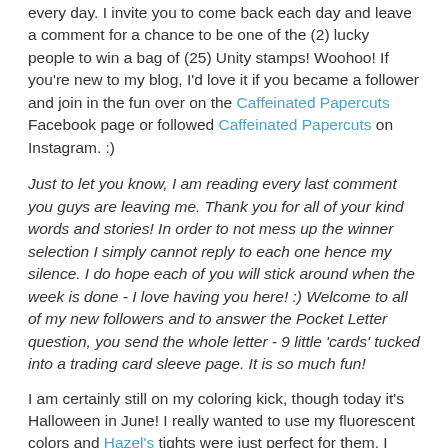every day. I invite you to come back each day and leave a comment for a chance to be one of the (2) lucky people to win a bag of (25) Unity stamps! Woohoo! If you're new to my blog, I'd love it if you became a follower and join in the fun over on the Caffeinated Papercuts Facebook page or followed Caffeinated Papercuts on Instagram. :)
Just to let you know, I am reading every last comment you guys are leaving me. Thank you for all of your kind words and stories! In order to not mess up the winner selection I simply cannot reply to each one hence my silence. I do hope each of you will stick around when the week is done - I love having you here! :) Welcome to all of my new followers and to answer the Pocket Letter question, you send the whole letter - 9 little 'cards' tucked into a trading card sleeve page. It is so much fun!
I am certainly still on my coloring kick, though today it's Halloween in June! I really wanted to use my fluorescent colors and Hazel's tights were just perfect for them. I made my own background again, but this time with a stencil and glossy transparent embossing paste.